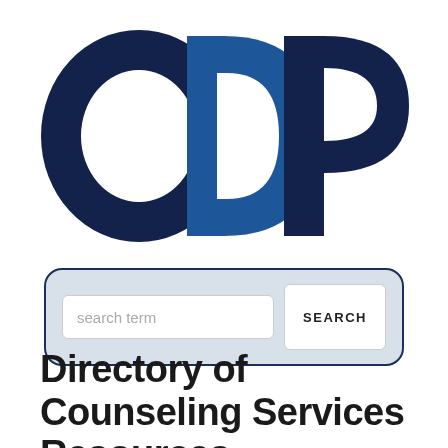[Figure (logo): ODP logo — large dark navy 'O', overlapping dark navy and blue 'D', and dark navy 'P' letters forming the ODP acronym]
[Figure (screenshot): Search interface with a light blue-grey rounded rectangle container holding a white text input field labelled 'search term' and a white button labelled 'SEARCH']
Directory of Counseling Services Resources